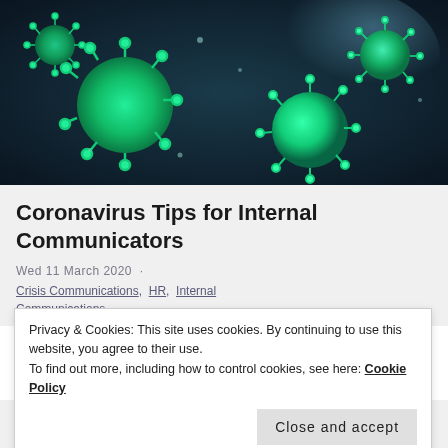[Figure (photo): 3D render of green coronavirus/virus particles floating against a dark teal/navy blue background. The spherical particles have spike proteins around them.]
Coronavirus Tips for Internal Communicators
Wed 11 March 2020 · Crisis Communications, HR, Internal Communications
Privacy & Cookies: This site uses cookies. By continuing to use this website, you agree to their use.
To find out more, including how to control cookies, see here: Cookie Policy
Close and accept
Here are a few tips and ideas about how to get your internal communications